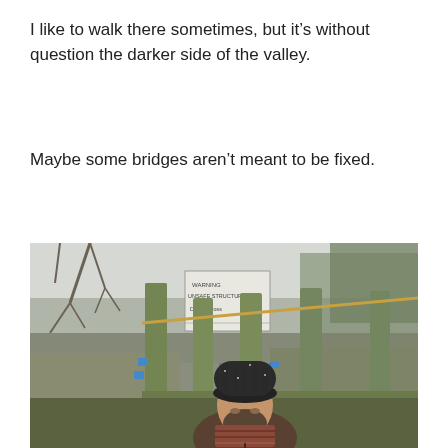I like to walk there sometimes, but it’s without question the darker side of the valley.
Maybe some bridges aren’t meant to be fixed.
[Figure (photo): A man wearing a dark knit beanie hat, scarf, and jacket stands in front of a wooden bridge structure that has moss-covered posts. A handwritten warning sign is visible in the background, along with bare winter trees and overgrown vegetation.]